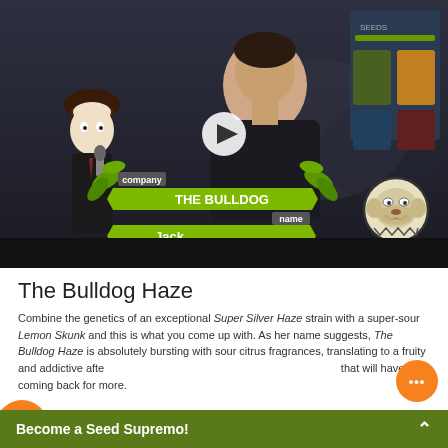[Figure (screenshot): Video thumbnail from Cannafest 2014 event showing a man in black shirt being interviewed, with 'The Bulldog' company namecard and 'Jack' name overlay in green banner graphics. A cartoon character with hat holds a microphone on the left. Play button visible in center. Seeds company banner top right. Bulldog logo circle on right.]
The Bulldog Haze
Combine the genetics of an exceptional Super Silver Haze strain with a super-sour Lemon Skunk and this is what you come up with. As her name suggests, The Bulldog Haze is absolutely bursting with sour citrus fragrances, translating to a fruity and addictive aftertaste that will have you coming back for more.
Become a Seed Supremo!